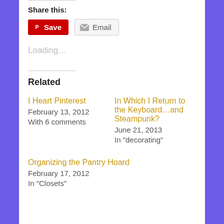Share this:
[Figure (infographic): Share buttons: red Pinterest Save button and grey Email button]
Loading...
Related
I Heart Pinterest
February 13, 2012
With 6 comments
In Which I Return to the Keyboard...and Steampunk?
June 21, 2013
In "decorating"
Organizing the Pantry Hoard
February 17, 2012
In "Closets"